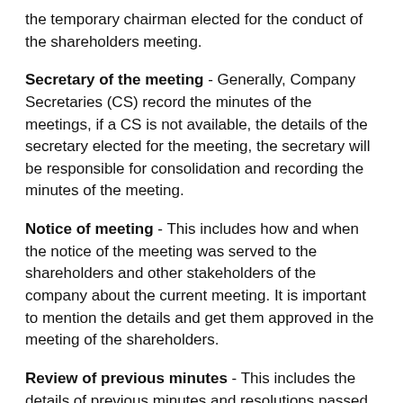the temporary chairman elected for the conduct of the shareholders meeting.
Secretary of the meeting - Generally, Company Secretaries (CS) record the minutes of the meetings, if a CS is not available, the details of the secretary elected for the meeting, the secretary will be responsible for consolidation and recording the minutes of the meeting.
Notice of meeting - This includes how and when the notice of the meeting was served to the shareholders and other stakeholders of the company about the current meeting. It is important to mention the details and get them approved in the meeting of the shareholders.
Review of previous minutes - This includes the details of previous minutes and resolutions passed by the shareholders.
Unfinished businesses from the previous minutes - Under this, the details of previous unfinished resolutions passed by the shareholders can be